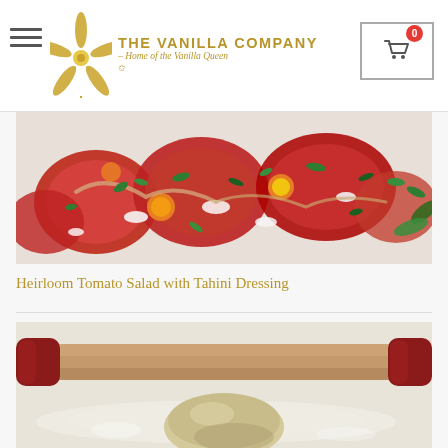THE VANILLA COMPANY – Home of the Vanilla Queen
[Figure (photo): Heirloom tomato salad with feta cheese, yellow cherry tomatoes, and fresh cilantro/herbs on a white plate]
Heirloom Tomato Salad with Tahini Dressing
[Figure (photo): A wooden rolling pin with red handles resting on a white surface next to a ball of dough]